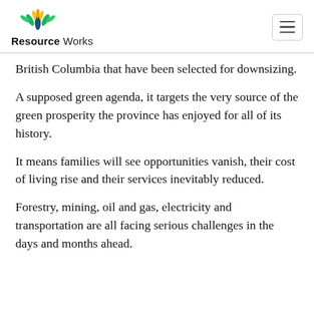Resource Works
British Columbia that have been selected for downsizing.
A supposed green agenda, it targets the very source of the green prosperity the province has enjoyed for all of its history.
It means families will see opportunities vanish, their cost of living rise and their services inevitably reduced.
Forestry, mining, oil and gas, electricity and transportation are all facing serious challenges in the days and months ahead.